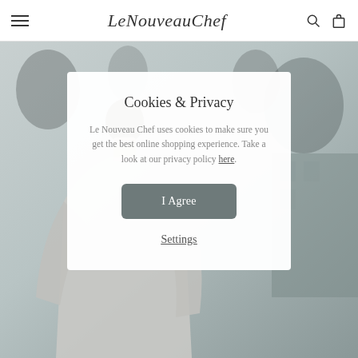Le Nouveau Chef
[Figure (photo): Background photo of a man in a light grey sweatshirt standing outdoors with bare trees in the background, blurred bokeh effect]
Cookies & Privacy
Le Nouveau Chef uses cookies to make sure you get the best online shopping experience. Take a look at our privacy policy here.
I Agree
Settings